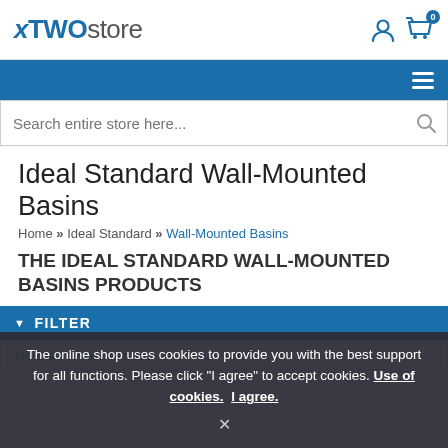xTWOstore
Ideal Standard Wall-Mounted Basins
Home » Ideal Standard » Wall-Mounted Basins
THE IDEAL STANDARD WALL-MOUNTED BASINS PRODUCTS
▼ FILTER
Go Back Ideal Standard
The online shop uses cookies to provide you with the best support for all functions. Please click "I agree" to accept cookies. Use of cookies. I agree.